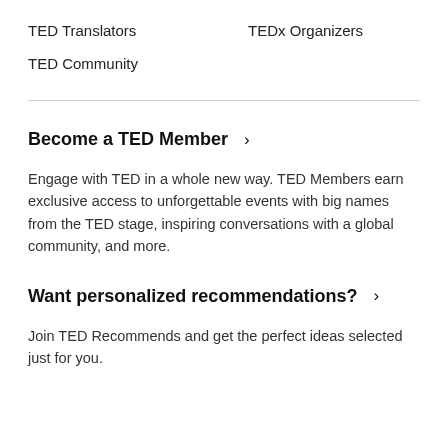TED Translators
TEDx Organizers
TED Community
Become a TED Member ›
Engage with TED in a whole new way. TED Members earn exclusive access to unforgettable events with big names from the TED stage, inspiring conversations with a global community, and more.
Want personalized recommendations? ›
Join TED Recommends and get the perfect ideas selected just for you.